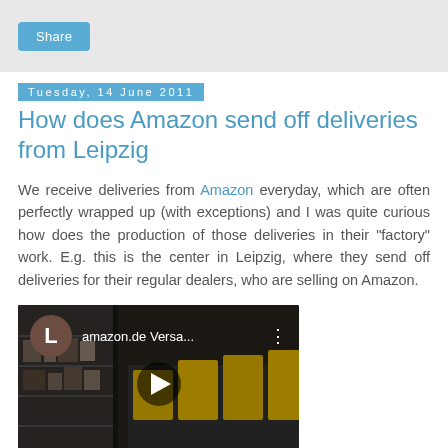Share
Tuesday, 14 June 2011
How does Amazon send off deliveries from Leipzig
We receive deliveries from Amazon everyday, which are often perfectly wrapped up (with exceptions) and I was quite curious how does the production of those deliveries in their "factory" work. E.g. this is the center in Leipzig, where they send off deliveries for their regular dealers, who are selling on Amazon.
[Figure (screenshot): YouTube video thumbnail showing amazon.de Versa... warehouse footage with play button and user avatar]